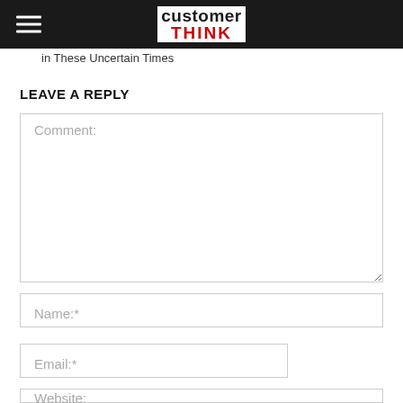customer THINK
in These Uncertain Times
LEAVE A REPLY
Comment:
Name:*
Email:*
Website: